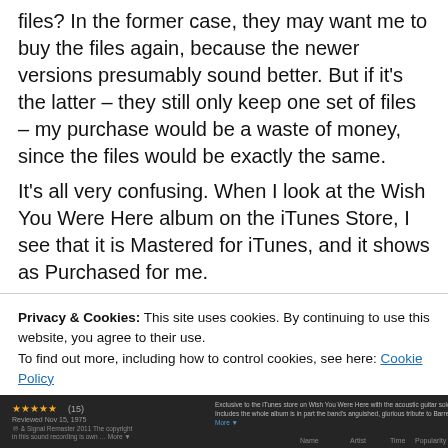files? In the former case, they may want me to buy the files again, because the newer versions presumably sound better. But if it's the latter – they still only keep one set of files – my purchase would be a waste of money, since the files would be exactly the same.
It's all very confusing. When I look at the Wish You Were Here album on the iTunes Store, I see that it is Mastered for iTunes, and it shows as Purchased for me.
Privacy & Cookies: This site uses cookies. By continuing to use this website, you agree to their use. To find out more, including how to control cookies, see here: Cookie Policy
[Figure (screenshot): Screenshot of iTunes Store page bottom bar showing star ratings, review date, copyright info, album description, and badge icons for LP and Mastered for iTunes]